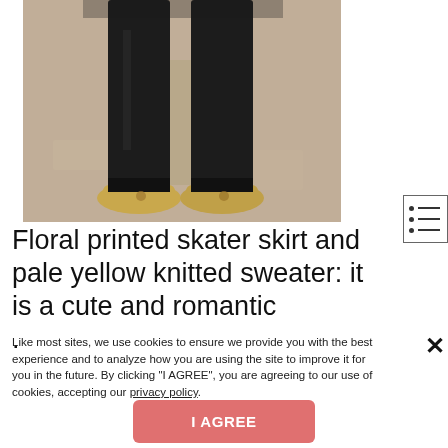[Figure (photo): Photo showing a person's legs in black tights and gold/metallic flat shoes on a sandy ground]
[Figure (other): List/menu icon with three rows each containing a bullet dot and a horizontal line, inside a bordered box]
Floral printed skater skirt and pale yellow knitted sweater: it is a cute and romantic .
Like most sites, we use cookies to ensure we provide you with the best experience and to analyze how you are using the site to improve it for you in the future. By clicking "I AGREE", you are agreeing to our use of cookies, accepting our privacy policy.
I AGREE